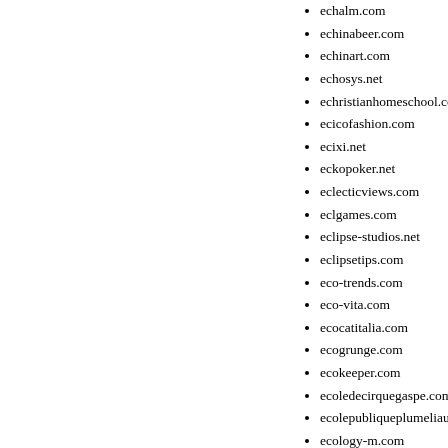echalm.com
echinabeer.com
echinart.com
echosys.net
echristianhomeschool.com
ecicofashion.com
ecixi.net
eckopoker.net
eclecticviews.com
eclgames.com
eclipse-studios.net
eclipsetips.com
eco-trends.com
eco-vita.com
ecocatitalia.com
ecogrunge.com
ecokeeper.com
ecoledecirquegaspe.com
ecolepubliqueplumeliau.com
ecology-m.com
ecometro.net
ecommercemarketinginfo.com
economysalesandservice.com
economytravelagency.com
ecookiesjar.com
ecoresortmadagascar.com
ecosdegloria.com
ecosmartcabin.net